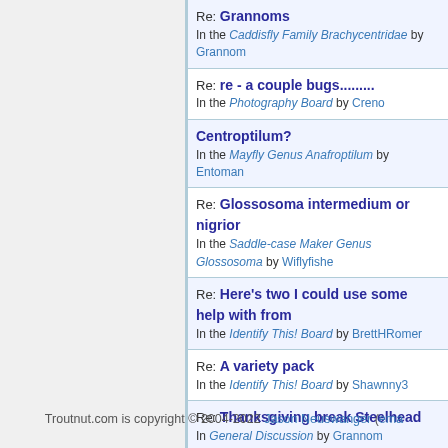Re: Grannoms
In the Caddisfly Family Brachycentridae by Grannom
Re: re - a couple bugs.........
In the Photography Board by Creno
Centroptilum?
In the Mayfly Genus Anafroptilum by Entoman
Re: Glossosoma intermedium or nigrior
In the Saddle-case Maker Genus Glossosoma by Wiflyfishe
Re: Here's two I could use some help with from
In the Identify This! Board by BrettHRomer
Re: A variety pack
In the Identify This! Board by Shawnny3
Re: Thanksgiving break Steelhead
In General Discussion by Grannom
Troutnut.com is copyright © 2004-2022 Jason Neuswanger (ema